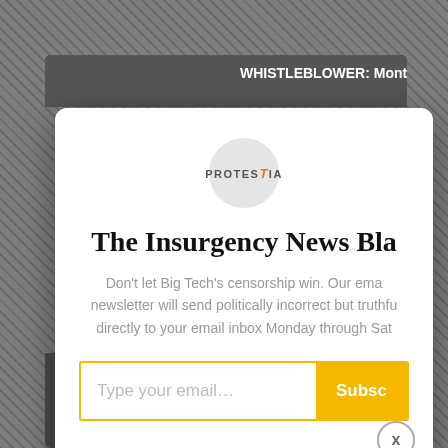[Figure (screenshot): Website background with diagonal hatched dark pattern and a partial article headline reading 'WHISTLEBLOWER: Montana Election' visible behind a modal popup]
[Figure (logo): Protestia logo inside a light gray circle — bold uppercase text with an italic orange letter]
The Insurgency News Bla
Don't let Big Tech's censorship win. Our ema newsletter will send politically incorrect but truthfu directly to your email inbox Monday through Sat
Type your email...  Subsc